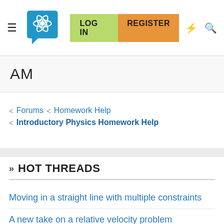LOG IN  REGISTER
AM
< Forums < Homework Help
< Introductory Physics Homework Help
» HOT THREADS
Moving in a straight line with multiple constraints
A new take on a relative velocity problem
Find the magnitude and direction of the velocity
Initial velocity and angle when a ball is kicked over a